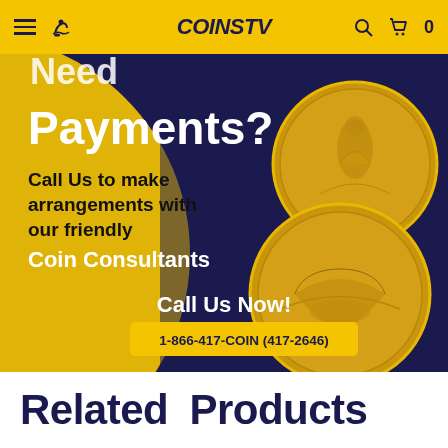COINS TV — navigation bar with hamburger menu, phone icon, logo, search icon, cart (0)
[Figure (infographic): Gold coin dealer advertisement on dark navy/gold background. Text reads: 'Need Payments? Call Us to make arrangements with our friendly Coin Consultants. Call Us Now! 1-866-417-COIN (417-2646)'. Shows two large gold American Eagle coins.]
Related Products